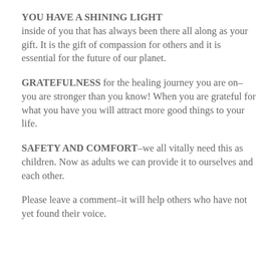YOU HAVE A SHINING LIGHT
inside of you that has always been there all along as your gift. It is the gift of compassion for others and it is essential for the future of our planet.
GRATEFULNESS for the healing journey you are on–you are stronger than you know! When you are grateful for what you have you will attract more good things to your life.
SAFETY AND COMFORT–we all vitally need this as children. Now as adults we can provide it to ourselves and each other.
Please leave a comment–it will help others who have not yet found their voice.